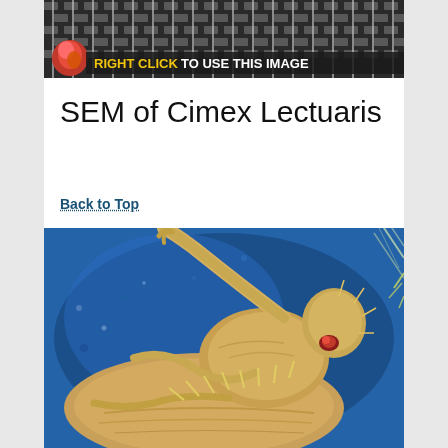[Figure (photo): Scanning electron microscope image of fabric/mesh texture with a small colorful bug visible, overlaid with yellow text 'RIGHT CLICK' and white text 'TO USE THIS IMAGE' on a dark banner]
SEM of Cimex Lectuaris
Back to Top
[Figure (photo): Colorful false-color scanning electron microscope (SEM) image of Cimex lectularius (bed bug) showing detailed close-up of insect body parts including legs, thorax and head against a blue background]